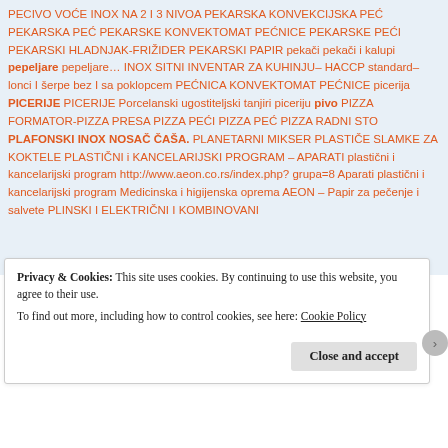PECIVO VOĆE INOX NA 2 I 3 NIVOA PEKARSKA KONVEKCIJSKA PEĆ PEKARSKA PEĆ PEKARSKE KONVEKTOMAT PEĆNICE PEKARSKE PEĆI PEKARSKI HLADNJAK-FRIŽIDER PEKARSKI PAPIR pekači pekači i kalupi pepeljare pepeljare… INOX SITNI INVENTAR ZA KUHINJU– HACCP standard– lonci I šerpe bez I sa poklopcem PEĆNICA KONVEKTOMAT PEĆNICE picerija PICERIJE PICERIJE Porcelanski ugostiteljski tanjiri piceriju pivo PIZZA FORMATOR-PIZZA PRESA PIZZA PEĆI PIZZA PEĆ PIZZA RADNI STO PLAFONSKI INOX NOSAČ ČAŠA. PLANETARNI MIKSER PLASTIČE SLAMKE ZA KOKTELE PLASTIČNI i KANCELARIJSKI PROGRAM – APARATI plastični i kancelarijski program http://www.aeon.co.rs/index.php?grupa=8 Aparati plastični i kancelarijski program Medicinska i higijenska oprema AEON – Papir za pečenje i salvete PLINSKI I ELEKTRIČNI I KOMBINOVANI
Privacy & Cookies: This site uses cookies. By continuing to use this website, you agree to their use.
To find out more, including how to control cookies, see here: Cookie Policy